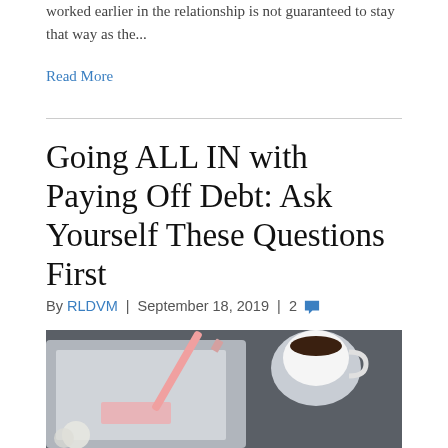worked earlier in the relationship is not guaranteed to stay that way as the...
Read More
Going ALL IN with Paying Off Debt: Ask Yourself These Questions First
By RLDVM | September 18, 2019 | 2
[Figure (photo): Overhead flat-lay photo of a notebook, pink pencil, and coffee cup on a dark gray desk surface]